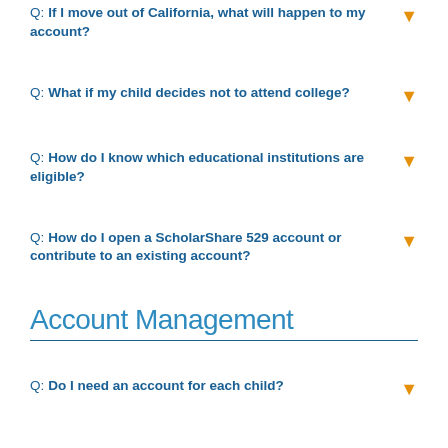Q: If I move out of California, what will happen to my account?
Q: What if my child decides not to attend college?
Q: How do I know which educational institutions are eligible?
Q: How do I open a ScholarShare 529 account or contribute to an existing account?
Account Management
Q: Do I need an account for each child?